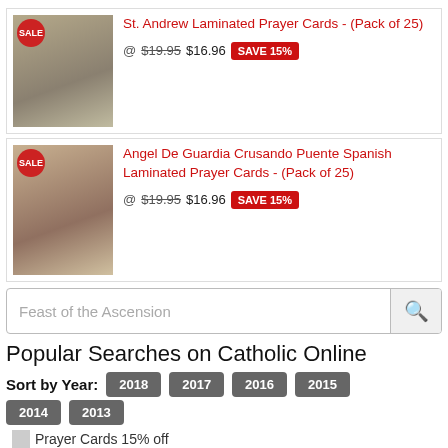[Figure (photo): St. Andrew Laminated Prayer Cards product listing with SALE badge]
St. Andrew Laminated Prayer Cards - (Pack of 25)
@ $19.95 $16.96 SAVE 15%
[Figure (photo): Angel De Guardia Crusando Puente Spanish Laminated Prayer Cards product listing with SALE badge]
Angel De Guardia Crusando Puente Spanish Laminated Prayer Cards - (Pack of 25)
@ $19.95 $16.96 SAVE 15%
Feast of the Ascension
Popular Searches on Catholic Online
Sort by Year: 2018 2017 2016 2015 2014 2013
[Figure (illustration): Prayer Cards 15% off advertisement image]